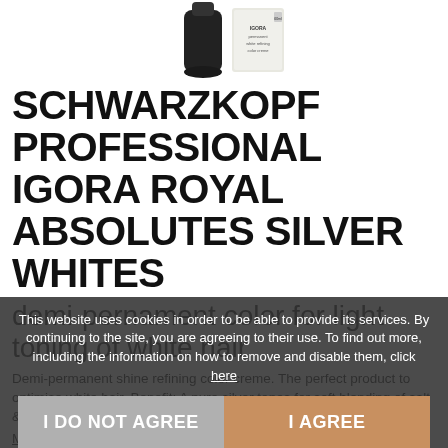[Figure (photo): Product image of Schwarzkopf Professional Igora Royal hair color tube and box, partially cropped at top]
SCHWARZKOPF PROFESSIONAL IGORA ROYAL ABSOLUTES SILVER WHITES
demi-pernament color for light toning of white hair
Demi-permanent shine refining color creme. The perfect product to optimise white hair. Benefit: A pure silver tones for soft blending of salt & pepper hair. Refining and beautif...
More info...
This website uses cookies in order to be able to provide its services. By continuing to the site, you are agreeing to their use. To find out more, including the information on how to remove and disable them, click here
I DO NOT AGREE
I AGREE